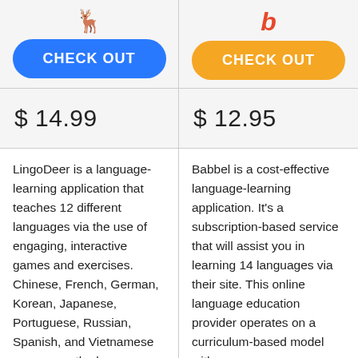[Figure (logo): LingoDeer emoji logo (owl with glasses)]
[Figure (logo): Babbel logo letters in red-orange]
CHECK OUT
CHECK OUT
$ 14.99
$ 12.95
LingoDeer is a language-learning application that teaches 12 different languages via the use of engaging, interactive games and exercises. Chinese, French, German, Korean, Japanese, Portuguese, Russian, Spanish, and Vietnamese are among the languages taught in the app.
Babbel is a cost-effective language-learning application. It's a subscription-based service that will assist you in learning 14 languages via their site. This online language education provider operates on a curriculum-based model with pre-